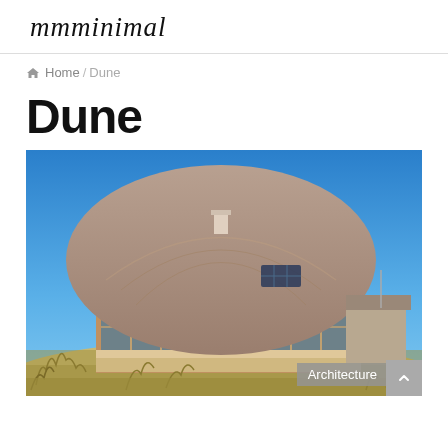mmminimal
Home / Dune
Dune
[Figure (photo): Exterior photograph of the Dune house — a low, dome-roofed structure clad in weathered timber, with a rectangular brick base and large glazed windows, set among sand dunes with golden grasses under a bright blue sky. A smaller building is partially visible to the right.]
Architecture